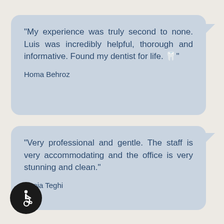"My experience was truly second to none. Luis was incredibly helpful, thorough and informative. Found my dentist for life. 🦷"

Homa Behroz
"Very professional and gentle. The staff is very accommodating and the office is very stunning and clean."

Sonia Teghi
[Figure (illustration): Wheelchair accessibility icon — white wheelchair symbol on a black circular background, positioned in the bottom-left corner.]